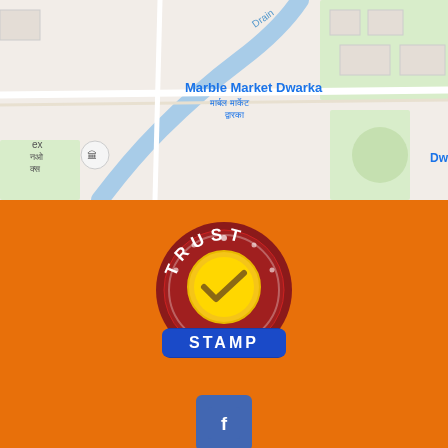[Figure (map): Google Maps screenshot showing Marble Market Dwarka area with roads, Dwarka Sec-08 label, drain waterway, and CRPF Rd visible]
[Figure (logo): Trust Stamp logo: circular red badge with white text TRUST around the top, gold checkmark in center, blue banner at bottom with white text STAMP]
[Figure (logo): Facebook logo icon: blue square with rounded corners and white letter f]
SEND INQUIRY
SEND SMS
GRAVS APPLIANCES PVT. LTD. All Rights Reserved. (Terms of Use) Developed and Managed by Infocom Network Private Limited.